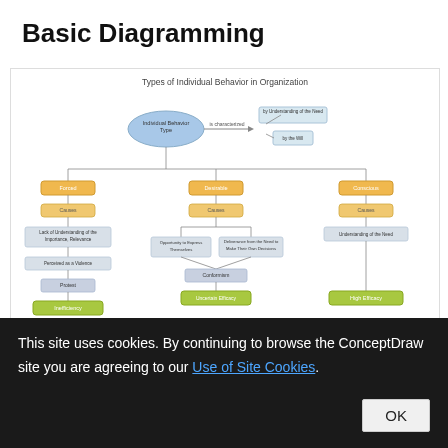Basic Diagramming
[Figure (flowchart): Types of Individual Behavior in Organization flowchart. Central node 'Individual Behavior Type' connects to 'by Understanding of the Need' and 'by the Will' via 'is characterized'. Below it branches into three columns: Forced (causes: Lack of Understanding of the Importance, Relevance -> Perceived as a Violence -> Protest -> Inefficiency), Desirable (causes: Opportunity to Express Themselves + Deliverance from the Need to Make Their Own Decisions -> Conformism -> Uncertain Efficacy), Conscious (causes: Understanding of the Need -> High Efficacy).]
This site uses cookies. By continuing to browse the ConceptDraw site you are agreeing to our Use of Site Cookies.